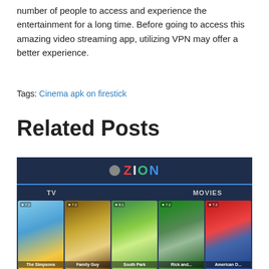number of people to access and experience the entertainment for a long time. Before going to access this amazing video streaming app, utilizing VPN may offer a better experience.
Tags: Cinema apk on firestick
Related Posts
[Figure (screenshot): Screenshot of Zion streaming app showing TV and Movies categories with thumbnails: The Simpsons, Family Guy, South Park, Rick and Morty, American Dad]